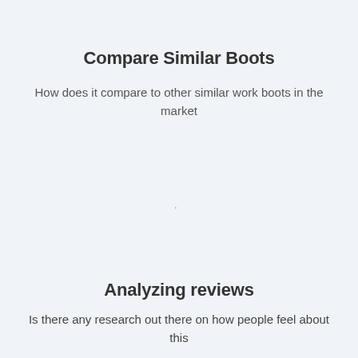Compare Similar Boots
How does it compare to other similar work boots in the market
Analyzing reviews
Is there any research out there on how people feel about this